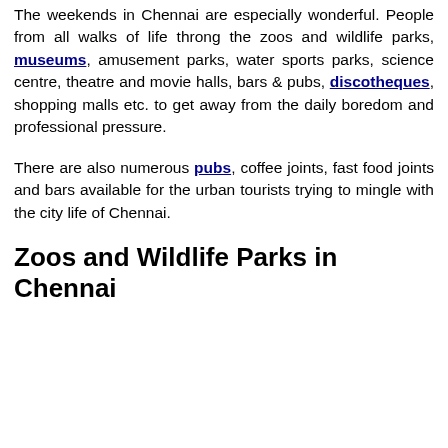The weekends in Chennai are especially wonderful. People from all walks of life throng the zoos and wildlife parks, museums, amusement parks, water sports parks, science centre, theatre and movie halls, bars & pubs, discotheques, shopping malls etc. to get away from the daily boredom and professional pressure.
There are also numerous pubs, coffee joints, fast food joints and bars available for the urban tourists trying to mingle with the city life of Chennai.
Zoos and Wildlife Parks in Chennai